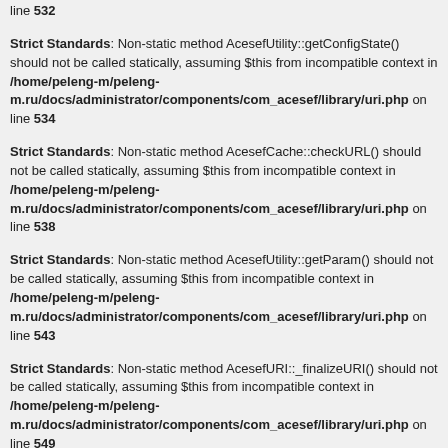line 532
Strict Standards: Non-static method AcesefUtility::getConfigState() should not be called statically, assuming $this from incompatible context in /home/peleng-m/peleng-m.ru/docs/administrator/components/com_acesef/library/uri.php on line 534
Strict Standards: Non-static method AcesefCache::checkURL() should not be called statically, assuming $this from incompatible context in /home/peleng-m/peleng-m.ru/docs/administrator/components/com_acesef/library/uri.php on line 538
Strict Standards: Non-static method AcesefUtility::getParam() should not be called statically, assuming $this from incompatible context in /home/peleng-m/peleng-m.ru/docs/administrator/components/com_acesef/library/uri.php on line 543
Strict Standards: Non-static method AcesefURI::_finalizeURI() should not be called statically, assuming $this from incompatible context in /home/peleng-m/peleng-m.ru/docs/administrator/components/com_acesef/library/uri.php on line 549
Strict Standards: Non-static method AcesefURI::getDomain() should not be called statically, assuming $this from incompatible context in /home/peleng-m/peleng-